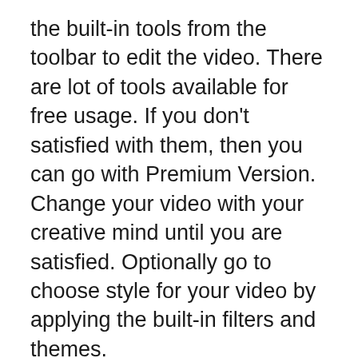the built-in tools from the toolbar to edit the video. There are lot of tools available for free usage. If you don't satisfied with them, then you can go with Premium Version. Change your video with your creative mind until you are satisfied. Optionally go to choose style for your video by applying the built-in filters and themes.
Finally save and share the videos into your iOS device or social networks. Get this easy, powerful, featured video editor now from 3uTools store or official Google Play Store and Apple Store. This app is amazing. Look at the comments that has been using it for the last few years. Surely, you already tried lots of video editing apps and nothing is like this one.